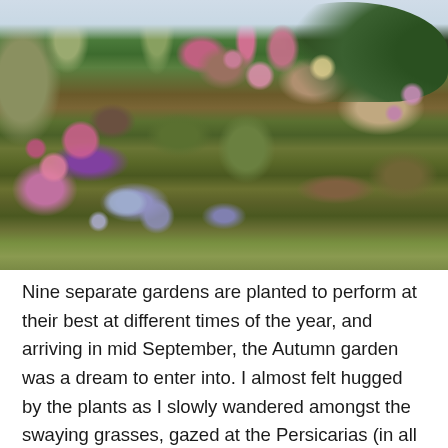[Figure (photo): Photograph of a lush autumn garden with mixed plantings including ornamental grasses, purple flowers (asters, Persicarias), pink flowering spikes, broad-leaved plants, and a clipped dark green hedge visible in the upper right background. The scene shows dense, naturalistic planting style.]
Nine separate gardens are planted to perform at their best at different times of the year, and arriving in mid September, the Autumn garden was a dream to enter into. I almost felt hugged by the plants as I slowly wandered amongst the swaying grasses, gazed at the Persicarias (in all shapes and sizes), marveled at oodles of Verbena...